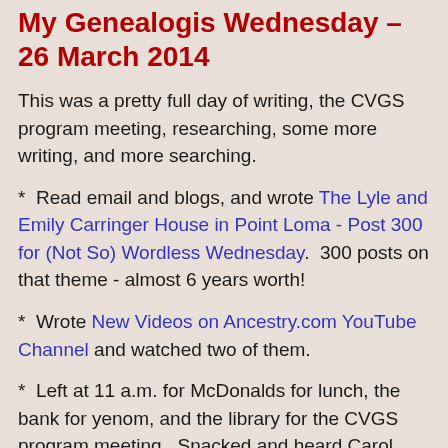My Genealogis Wednesday – 26 March 2014
This was a pretty full day of writing, the CVGS program meeting, researching, some more writing, and more searching.
*  Read email and blogs, and wrote The Lyle and Emily Carringer House in Point Loma - Post 300 for (Not So) Wordless Wednesday.  300 posts on that theme - almost 6 years worth!
*  Wrote New Videos on Ancestry.com YouTube Channel and watched two of them.
*  Left at 11 a.m. for McDonalds for lunch, the bank for yenom, and the library for the CVGS program meeting.  Snacked and heard Carol Baird give a great presentation on postcards and genealogy.
*  Home by 2:15 p.m. to read, work on the Knapp problem - downloaded the Beekman Patent pages, and wrote William